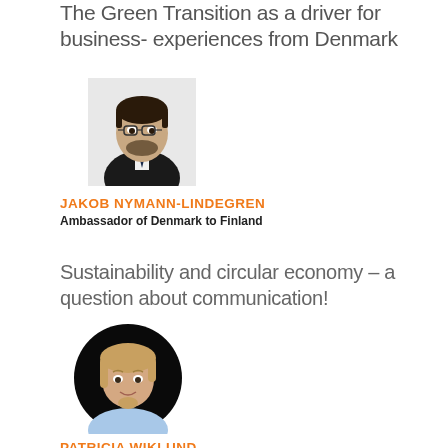The Green Transition as a driver for business- experiences from Denmark
[Figure (photo): Headshot photo of Jakob Nymann-Lindegren, a man in a dark suit and tie wearing glasses, on a white background, displayed in an oval/circle crop]
JAKOB NYMANN-LINDEGREN
Ambassador of Denmark to Finland
Sustainability and circular economy – a question about communication!
[Figure (photo): Headshot photo of Patricia Wiklund, a woman with light brown hair and a light blue shirt, on a black background, displayed in a circle crop]
PATRICIA WIKLUND